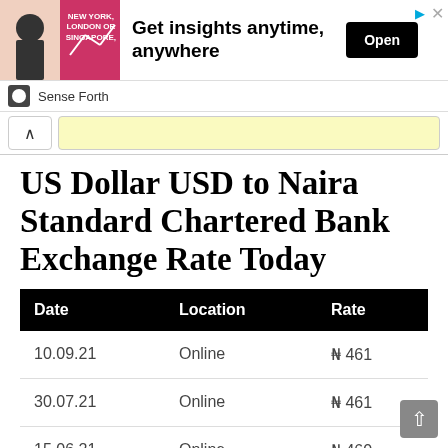[Figure (other): Advertisement banner: man in suit with text 'NEW YORK, LONDON OR SINGAPORE', headline 'Get insights anytime, anywhere', Open button, Sense Forth branding]
US Dollar USD to Naira Standard Chartered Bank Exchange Rate Today
| Date | Location | Rate |
| --- | --- | --- |
| 10.09.21 | Online | ₦ 461 |
| 30.07.21 | Online | ₦ 461 |
| 15.06.21 | Online | ₦ 460 |
Euro EUR to Naira Standard Chartered Bank Exchange Rate